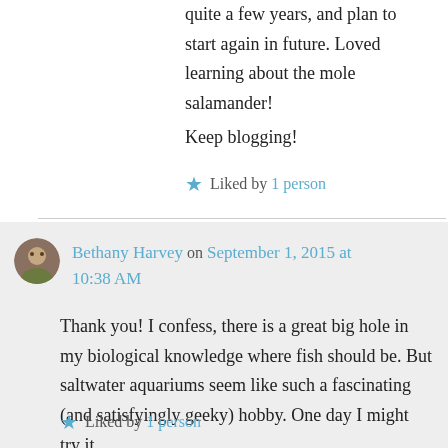quite a few years, and plan to start again in future. Loved learning about the mole salamander!
Keep blogging!
★ Liked by 1 person
Bethany Harvey on September 1, 2015 at 10:38 AM
Thank you! I confess, there is a great big hole in my biological knowledge where fish should be. But saltwater aquariums seem like such a fascinating (and satisfyingly geeky) hobby. One day I might try it.
★ Liked by 1 person